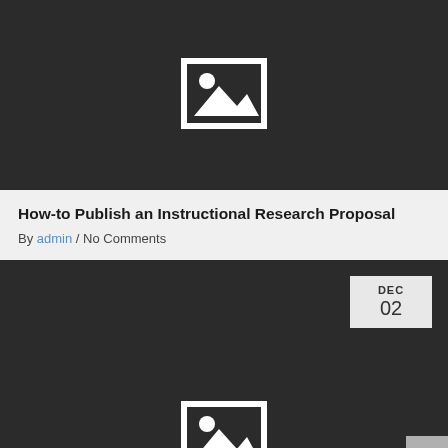[Figure (illustration): Dark placeholder image with a white-framed landscape/photo icon (mountain and sun) centered on dark background]
How-to Publish an Instructional Research Proposal
By admin / No Comments
[Figure (illustration): Dark placeholder image with a white-framed landscape/photo icon, with a date badge (DEC 02) in the top right corner and a scroll arrow in the bottom right]